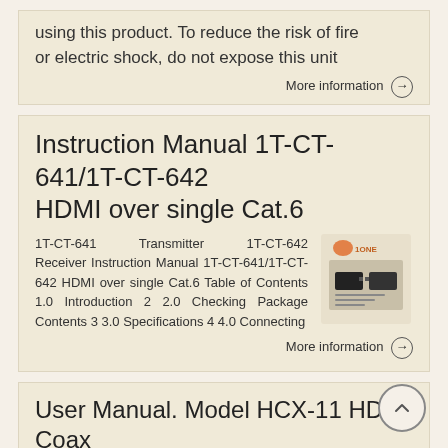using this product. To reduce the risk of fire or electric shock, do not expose this unit
More information →
Instruction Manual 1T-CT-641/1T-CT-642 HDMI over single Cat.6
1T-CT-641 Transmitter 1T-CT-642 Receiver Instruction Manual 1T-CT-641/1T-CT-642 HDMI over single Cat.6 Table of Contents 1.0 Introduction 2 2.0 Checking Package Contents 3 3.0 Specifications 4 4.0 Connecting
[Figure (photo): Product image showing instruction manual cover with 1ONE branding and two HDMI extender units]
More information →
User Manual. Model HCX-11 HDMI Coax Extender. Five-Coax Extender Model HCX-11. Five-Coax Extender Model HCX-11
User Manual Model HCX-11 Coax Extender
[Figure (photo): User Manual product image thumbnail for HCX-11]